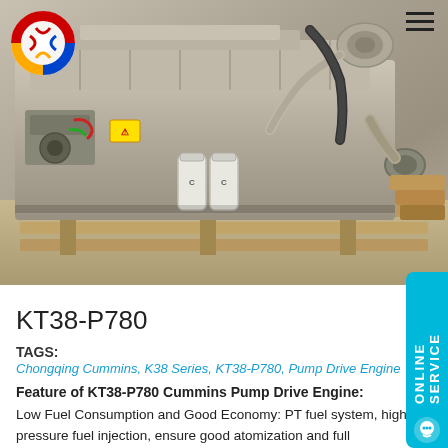[Figure (photo): Large industrial engine (Cummins KT38-P780 Pump Drive Engine) in beige/tan color, mounted on wooden pallet, photographed from front-side angle showing turbocharger, fuel filters, and piping. Company logo (circular red/blue/yellow design) visible top-left. Hamburger menu icon top-right.]
KT38-P780
TAGS:
Chongqing Cummins, K38 Series, KT38-P780, Pump Drive Engine
Feature of KT38-P780 Cummins Pump Drive Engine:
Low Fuel Consumption and Good Economy: PT fuel system, high pressure fuel injection, ensure good atomization and full combustion.